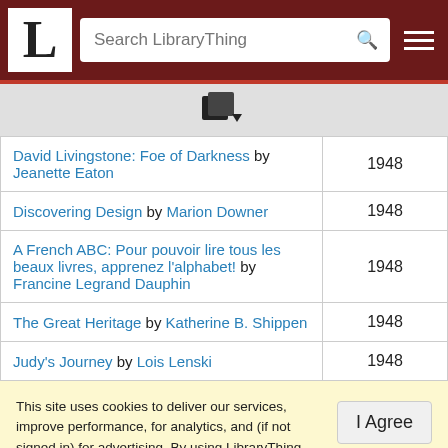LibraryThing — Search LibraryThing
[Figure (other): Book/document icon with a small dropdown arrow]
| Title / Author | Year |
| --- | --- |
| David Livingstone: Foe of Darkness by Jeanette Eaton | 1948 |
| Discovering Design by Marion Downer | 1948 |
| A French ABC: Pour pouvoir lire tous les beaux livres, apprenez l'alphabet! by Francine Legrand Dauphin | 1948 |
| The Great Heritage by Katherine B. Shippen | 1948 |
| Judy's Journey by Lois Lenski | 1948 |
This site uses cookies to deliver our services, improve performance, for analytics, and (if not signed in) for advertising. By using LibraryThing you acknowledge that you have read and understand our Terms of Service and Privacy Policy. Your use of the site and services is subject to these policies and terms.